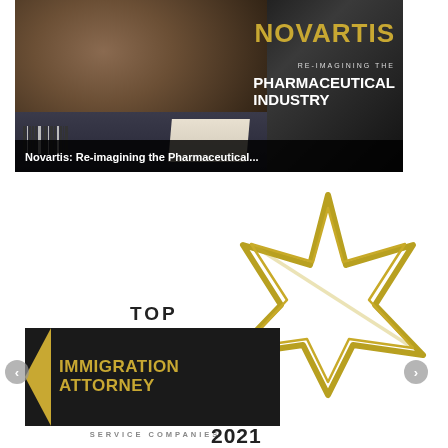[Figure (photo): Novartis magazine cover showing a person in a suit with text 'NOVARTIS RE-IMAGINING THE PHARMACEUTICAL INDUSTRY']
Novartis: Re-imagining the Pharmaceutical...
[Figure (logo): Top Immigration Attorney Service Companies 2021 award badge with star graphic, awarded by SiliconIndia]